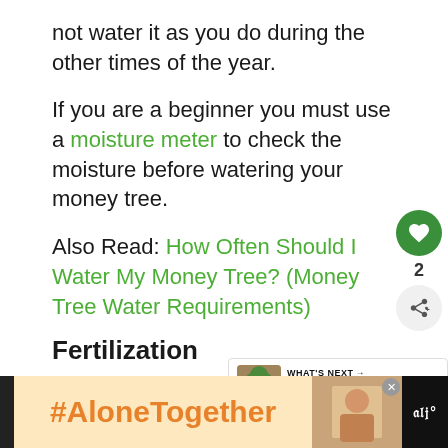not water it as you do during the other times of the year.
If you are a beginner you must use a moisture meter to check the moisture before watering your money tree.
Also Read: How Often Should I Water My Money Tree? (Money Tree Water Requirements)
Fertilization
[Figure (infographic): Bottom advertisement bar with #AloneTogether hashtag in orange and a photo of a person]
[Figure (infographic): What's Next banner showing a plant image and text 'What Kind Of Pot Is Best F...']